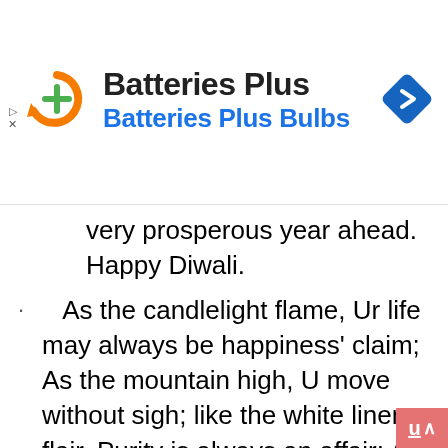[Figure (logo): Batteries Plus advertisement banner with orange circular logo with green plus sign, text 'Batteries Plus' in bold black and 'Batteries Plus Bulbs' in blue, and a blue diamond navigation icon on the right]
very prosperous year ahead. Happy Diwali.
As the candlelight flame, Ur life may always be happiness' claim; As the mountain high, U move without sigh; like the white linen flair, Purity is always an affair; As sunshine creates morning glory, fragrance fills years as Flory; with the immaculate eternal smile, attached to u mile after mile; All darkness is far away, As